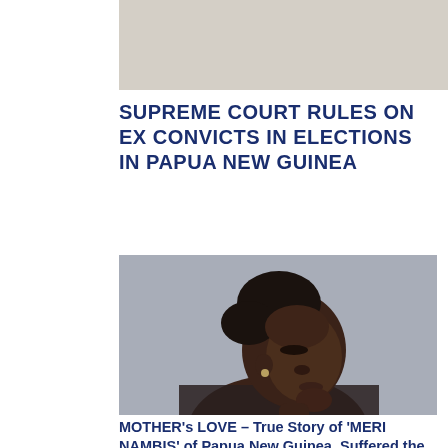[Figure (photo): Light-colored possibly sky or neutral background top image strip]
SUPREME COURT RULES ON EX CONVICTS IN ELECTIONS IN PAPUA NEW GUINEA
[Figure (photo): Young Black woman with hair in a bun, looking downward to the right, wearing a patterned black and white top, against a grey background]
MOTHER's LOVE – True Story of 'MERI NAMBIS' of Papua New Guinea. Suffered the